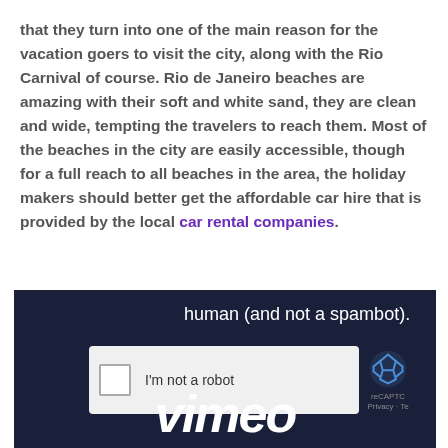that they turn into one of the main reason for the vacation goers to visit the city, along with the Rio Carnival of course. Rio de Janeiro beaches are amazing with their soft and white sand, they are clean and wide, tempting the travelers to reach them. Most of the beaches in the city are easily accessible, though for a full reach to all beaches in the area, the holiday makers should better get the affordable car hire that is provided by the local car rental companies.
[Figure (screenshot): A dark navy-blue screenshot showing a reCAPTCHA widget with 'I'm not a robot' checkbox and partial Vimeo logo at the bottom. Text above reads 'human (and not a spambot).'.]